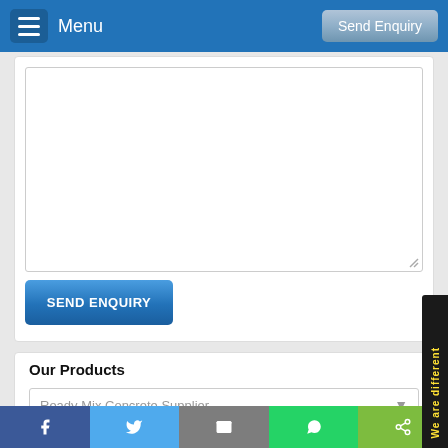Menu | Send Enquiry
[Figure (screenshot): Textarea form field for enquiry message input]
SEND ENQUIRY
Our Products
Ready Mix Concrete Supplier
Listed Under
Ready-Mixed Concrete
Concrete Contractors
Facebook | Twitter | Email | WhatsApp | Share